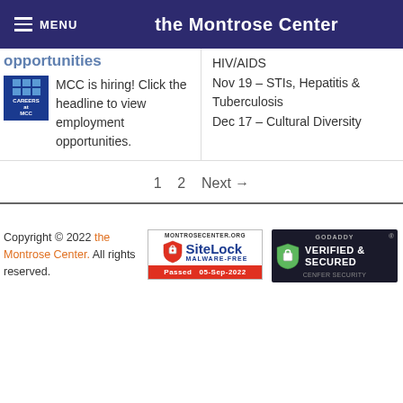MENU  the Montrose Center
opportunities
MCC is hiring! Click the headline to view employment opportunities.
HIV/AIDS
Nov 19 – STIs, Hepatitis & Tuberculosis
Dec 17 – Cultural Diversity
1   2   Next →
Copyright © 2022 the Montrose Center. All rights reserved.